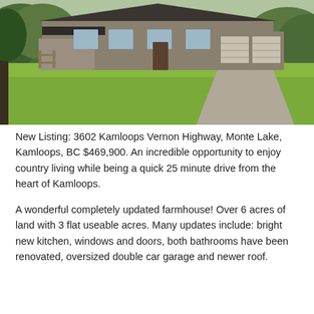[Figure (photo): Exterior photo of a single-story farmhouse with dark roof, attached double garage, surrounded by a large green lawn, with hills and trees in the background.]
New Listing: 3602 Kamloops Vernon Highway, Monte Lake, Kamloops, BC $469,900. An incredible opportunity to enjoy country living while being a quick 25 minute drive from the heart of Kamloops.
A wonderful completely updated farmhouse! Over 6 acres of land with 3 flat useable acres. Many updates include: bright new kitchen, windows and doors, both bathrooms have been renovated, oversized double car garage and newer roof.